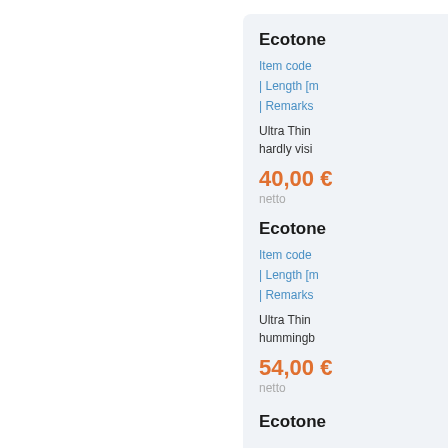Ecotone
Item code | Length [m] | Remarks
Ultra Thin hardly visi
40,00 € netto
Ecotone
Item code | Length [m] | Remarks
Ultra Thin hummingb
54,00 € netto
Ecotone